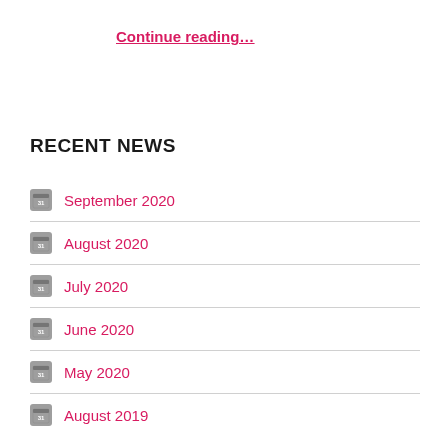Continue reading…
RECENT NEWS
September 2020
August 2020
July 2020
June 2020
May 2020
August 2019